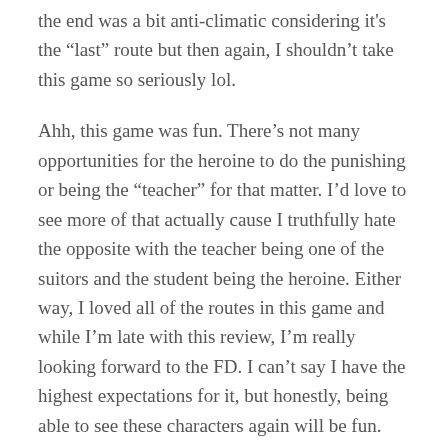the end was a bit anti-climatic considering it's the "last" route but then again, I shouldn't take this game so seriously lol.
Ahh, this game was fun. There's not many opportunities for the heroine to do the punishing or being the "teacher" for that matter. I'd love to see more of that actually cause I truthfully hate the opposite with the teacher being one of the suitors and the student being the heroine. Either way, I loved all of the routes in this game and while I'm late with this review, I'm really looking forward to the FD. I can't say I have the highest expectations for it, but honestly, being able to see these characters again will be fun. And there's no way they wouldn't implement the slapping system which is honestly a pretty fun minigame for an otomate game. I thought I'd end up liking...